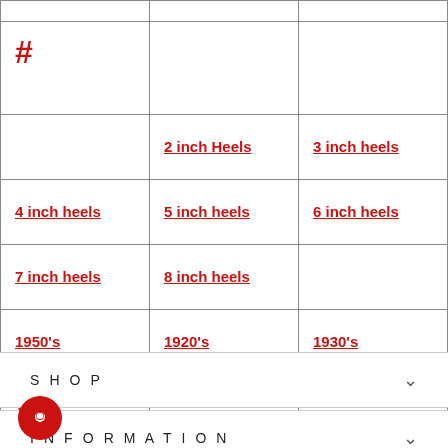|  |  |  |
| # |  |  |
|  | 2 inch Heels | 3 inch heels |
| 4 inch heels | 5 inch heels | 6 inch heels |
| 7 inch heels | 8 inch heels |  |
| 1950's | 1920's | 1930's |
| 1970's |  |  |
SHOP
INFORMATION